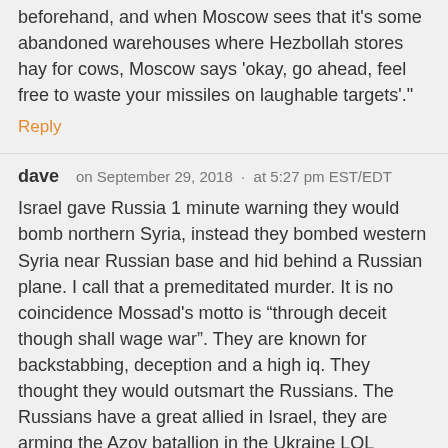beforehand, and when Moscow sees that it's some abandoned warehouses where Hezbollah stores hay for cows, Moscow says 'okay, go ahead, feel free to waste your missiles on laughable targets'."
Reply
dave   on September 29, 2018  ·  at 5:27 pm EST/EDT
Israel gave Russia 1 minute warning they would bomb northern Syria, instead they bombed western Syria near Russian base and hid behind a Russian plane. I call that a premeditated murder. It is no coincidence Mossad's motto is “through deceit though shall wage war”. They are known for backstabbing, deception and a high iq. They thought they would outsmart the Russians. The Russians have a great allied in Israel, they are arming the Azov batallion in the Ukraine LOL
Reply
Anonymous   on October 02, 2018  ·  at 8:46 pm EST/EDT
""Tel Aviv coordinated it's bank of targets with Moscow